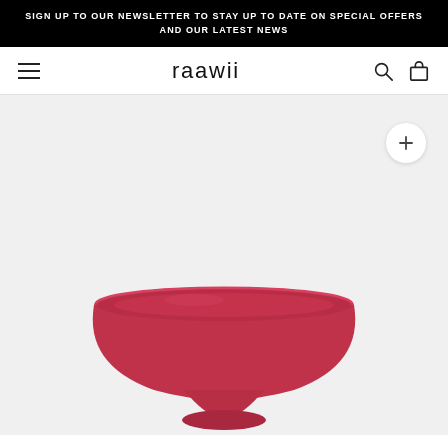SIGN UP TO OUR NEWSLETTER TO STAY UP TO DATE ON SPECIAL OFFERS AND OUR LATEST NEWS
raawii
[Figure (photo): A matte red/crimson ceramic bowl with a pedestal base, photographed on a light grey-white background. The bowl is wide and shallow with curved sides and sits on a short round foot.]